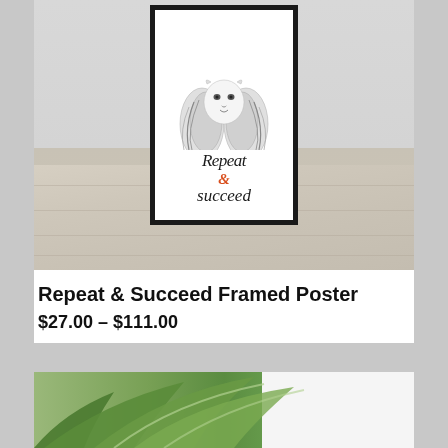[Figure (photo): Product photo of a framed motivational poster featuring a lion illustration with the text 'Repeat & succeed', displayed leaning against a wall on a wood floor. The '&' symbol is in orange/red color.]
Repeat & Succeed Framed Poster
$27.00 – $111.00
[Figure (photo): Partial view of a second product photo, showing green plant leaves against a light background.]